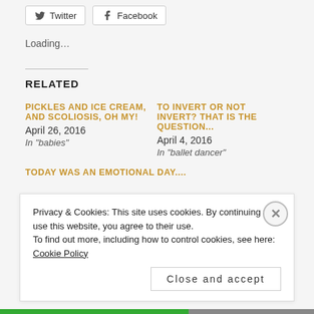[Figure (other): Twitter and Facebook share buttons at top of page]
Loading...
RELATED
PICKLES AND ICE CREAM, AND SCOLIOSIS, OH MY!
April 26, 2016
In "babies"
TO INVERT OR NOT INVERT? THAT IS THE QUESTION...
April 4, 2016
In "ballet dancer"
TODAY WAS AN EMOTIONAL DAY....
Privacy & Cookies: This site uses cookies. By continuing to use this website, you agree to their use.
To find out more, including how to control cookies, see here: Cookie Policy
Close and accept